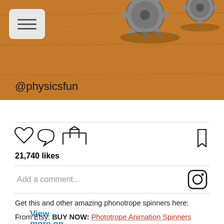[Figure (photo): Instagram post screenshot showing gears on a wooden surface with @physicsfun handle, like/comment/share icons, 21,740 likes, and a comment input field]
View more on Instagram
21,740 likes
Get this and other amazing phonotrope spinners here:
From Etsy: BUY NOW: Phototrope Animation Spinners
Phonotrope Spinning Gears: one more amazing phonotrope from apyrodesign. When the rate of rotation matches the rate of the smartphone video process (wait for it) twelve animated gears